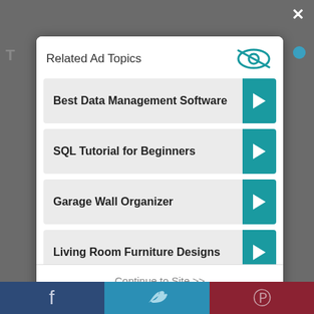Related Ad Topics
Best Data Management Software
SQL Tutorial for Beginners
Garage Wall Organizer
Living Room Furniture Designs
Continue to Site >>